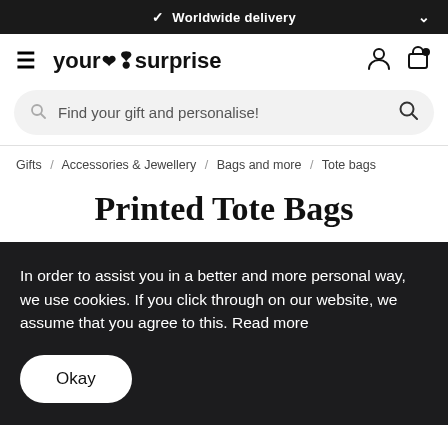✓ Worldwide delivery
[Figure (logo): your surprise logo with hamburger menu icon, user icon, and cart icon]
Find your gift and personalise!
Gifts / Accessories & Jewellery / Bags and more / Tote bags
Printed Tote Bags
In order to assist you in a better and more personal way, we use cookies. If you click through on our website, we assume that you agree to this. Read more
Okay